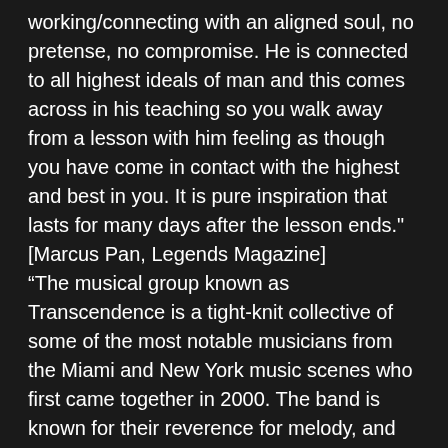working/connecting with an aligned soul, no pretense, no compromise. He is connected to all highest ideals of man and this comes across in his teaching so you walk away from a lesson with him feeling as though you have come in contact with the highest and best in you. It is pure inspiration that lasts for many days after the lesson ends."
[Marcus Pan, Legends Magazine]
“The musical group known as Transcendence is a tight-knit collective of some of the most notable musicians from the Miami and New York music scenes who first came together in 2000. The band is known for their reverence for melody, and an often eclectic and sometimes unnerving yet enticing tendency toward stylistic changes. “Smoothing across genres like a skater on ice, Ed Hale and company show amazing songwriting skills throughout Rise and Shine. They have just released a debut on TMG Records that is one I cannot listen to